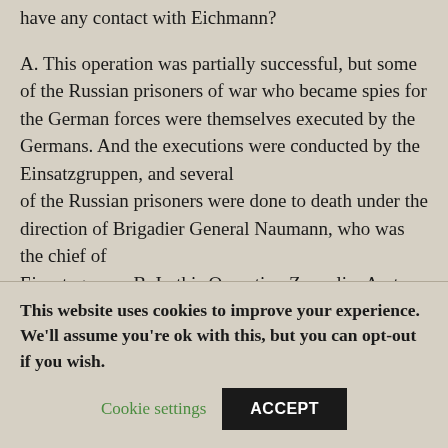have any contact with Eichmann?
A. This operation was partially successful, but some of the Russian prisoners of war who became spies for the German forces were themselves executed by the Germans. And the executions were conducted by the Einsatzgruppen, and several of the Russian prisoners were done to death under the direction of Brigadier General Naumann, who was the chief of Einsatzgruppe B. In this Operation Zeppelin, Amt VI, headed by Schellenberg, worked hand in glove with Amt IV, the
This website uses cookies to improve your experience. We'll assume you're ok with this, but you can opt-out if you wish.
Cookie settings
ACCEPT